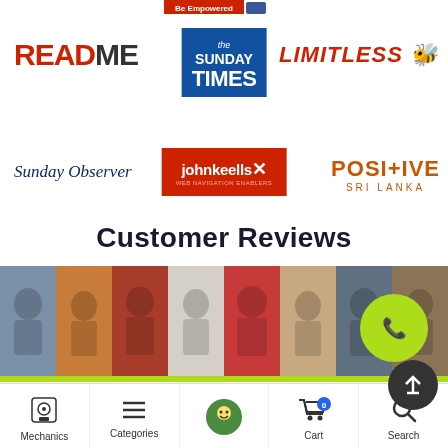[Figure (logo): Partial logo strip at top with red and blue elements]
[Figure (logo): README logo in red and dark text]
[Figure (logo): The Sunday Times logo on blue background]
[Figure (logo): LIMITLESS logo in red italic]
[Figure (logo): Sunday Observer logo in blue serif italic]
[Figure (logo): johnkeellsX logo on red background]
[Figure (logo): POSITIVE SRI LANKA logo in orange]
Customer Reviews
[Figure (photo): Grid of customer profile photos mosaic banner]
Mechanics | Categories | (mascot icon) | Cart 0 | Search